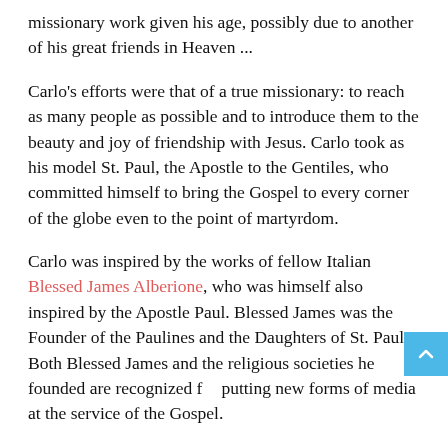missionary work given his age, possibly due to another of his great friends in Heaven ...
Carlo's efforts were that of a true missionary: to reach as many people as possible and to introduce them to the beauty and joy of friendship with Jesus. Carlo took as his model St. Paul, the Apostle to the Gentiles, who committed himself to bring the Gospel to every corner of the globe even to the point of martyrdom.
Carlo was inspired by the works of fellow Italian Blessed James Alberione, who was himself also inspired by the Apostle Paul. Blessed James was the Founder of the Paulines and the Daughters of St. Paul. Both Blessed James and the religious societies he founded are recognized for putting new forms of media at the service of the Gospel.
The Eucharist